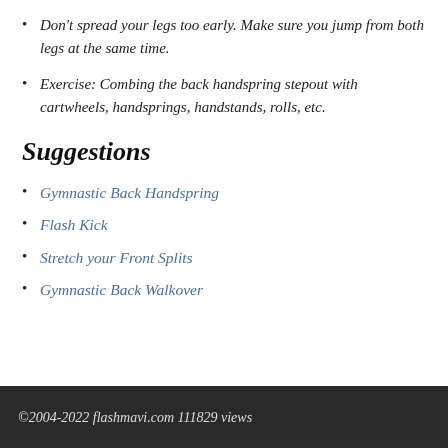Don't spread your legs too early. Make sure you jump from both legs at the same time.
Exercise: Combing the back handspring stepout with cartwheels, handsprings, handstands, rolls, etc.
Suggestions
Gymnastic Back Handspring
Flash Kick
Stretch your Front Splits
Gymnastic Back Walkover
©2004-2022 flashmavi.com 111829 views